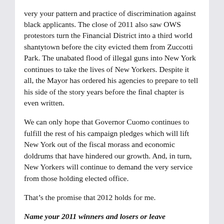very your pattern and practice of discrimination against black applicants. The close of 2011 also saw OWS protestors turn the Financial District into a third world shantytown before the city evicted them from Zuccotti Park. The unabated flood of illegal guns into New York continues to take the lives of New Yorkers. Despite it all, the Mayor has ordered his agencies to prepare to tell his side of the story years before the final chapter is even written.
We can only hope that Governor Cuomo continues to fulfill the rest of his campaign pledges which will lift New York out of the fiscal morass and economic doldrums that have hindered our growth. And, in turn, New Yorkers will continue to demand the very service from those holding elected office.
That’s the promise that 2012 holds for me.
Name your 2011 winners and losers or leave your 2012 predictions below.